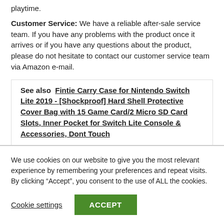playtime.
Customer Service: We have a reliable after-sale service team. If you have any problems with the product once it arrives or if you have any questions about the product, please do not hesitate to contact our customer service team via Amazon e-mail.
See also  Fintie Carry Case for Nintendo Switch Lite 2019 - [Shockproof] Hard Shell Protective Cover Bag with 15 Game Card/2 Micro SD Card Slots, Inner Pocket for Switch Lite Console & Accessories, Dont Touch
We use cookies on our website to give you the most relevant experience by remembering your preferences and repeat visits. By clicking “Accept”, you consent to the use of ALL the cookies.
Cookie settings
ACCEPT